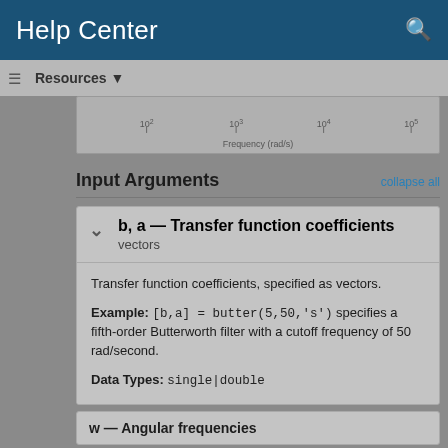Help Center
Resources ▼
[Figure (continuous-plot): Partial view of a frequency response plot showing x-axis labeled 'Frequency (rad/s)' with tick marks at 10^2, 10^3, 10^4, 10^5]
Input Arguments
collapse all
b, a — Transfer function coefficients
vectors
Transfer function coefficients, specified as vectors.
Example: [b,a] = butter(5,50,'s') specifies a fifth-order Butterworth filter with a cutoff frequency of 50 rad/second.
Data Types: single|double
w — Angular frequencies